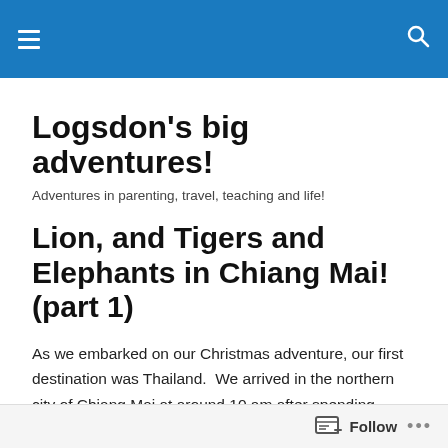Logsdon's big adventures! [navigation header with hamburger menu and search icon]
Logsdon's big adventures!
Adventures in parenting, travel, teaching and life!
Lion, and Tigers and Elephants in Chiang Mai! (part 1)
As we embarked on our Christmas adventure, our first destination was Thailand.  We arrived in the northern city of Chiang Mai at around 10 am after spending nearly 12 overnight hours sprawled out across the metal chairs in the Bangkok airport.  Needless to say, when we arrived at
Follow ...